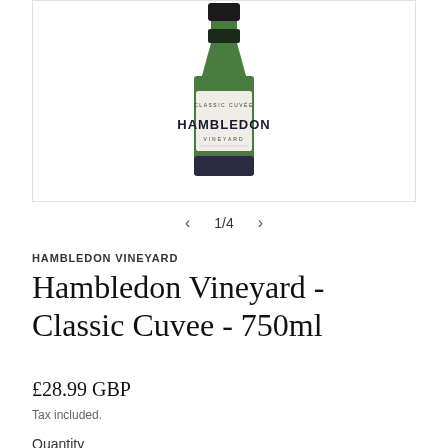[Figure (photo): Photo of a Hambledon Vineyard Classic Cuvee wine bottle (750ml) with green bottle, black foil top, and white label showing 'CLASSIC CUVÉE' and 'HAMBLEDON VINEYARD' text]
1/4
HAMBLEDON VINEYARD
Hambledon Vineyard - Classic Cuvee - 750ml
£28.99 GBP
Tax included.
Quantity